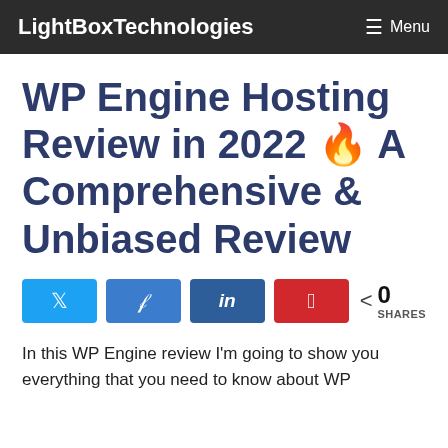LightBoxTechnologies  ≡ Menu
WP Engine Hosting Review in 2022 🔥 A Comprehensive & Unbiased Review
[Figure (infographic): Four social share buttons (Twitter, Facebook, LinkedIn, Pinterest) and a share count showing 0 SHARES]
In this WP Engine review I'm going to show you everything that you need to know about WP